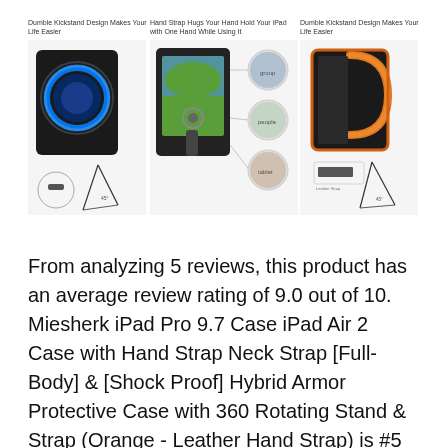[Figure (photo): Three product images of iPad cases side by side. Left panel shows a black kickstand case with blue ring, labeled 'Dumble Kickstand Design Makes Your Life Easier'. Center panel shows a black case with hand strap and multiple circular inset photos, labeled 'Hand Strap Hugs Your Hand Hold Your iPad with One Hand While Using It'. Right panel shows a black and orange kickstand case, labeled 'Dumble Kickstand Design Makes Your Life Easier'.]
From analyzing 5 reviews, this product has an average review rating of 9.0 out of 10. Miesherk iPad Pro 9.7 Case iPad Air 2 Case with Hand Strap Neck Strap [Full-Body] & [Shock Proof] Hybrid Armor Protective Case with 360 Rotating Stand & Strap (Orange - Leather Hand Strap) is #5 on the top shoulder armor leather.